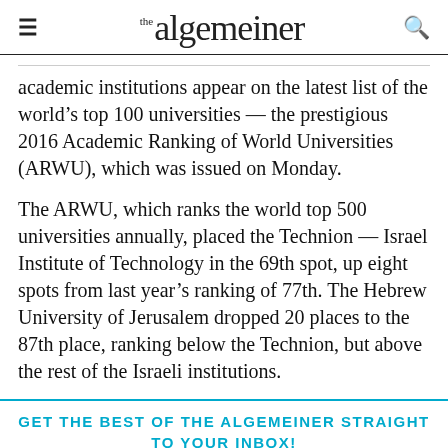the algemeiner
academic institutions appear on the latest list of the world’s top 100 universities — the prestigious 2016 Academic Ranking of World Universities (ARWU), which was issued on Monday.
The ARWU, which ranks the world top 500 universities annually, placed the Technion — Israel Institute of Technology in the 69th spot, up eight spots from last year’s ranking of 77th. The Hebrew University of Jerusalem dropped 20 places to the 87th place, ranking below the Technion, but above the rest of the Israeli institutions.
GET THE BEST OF THE ALGEMEINER STRAIGHT TO YOUR INBOX!